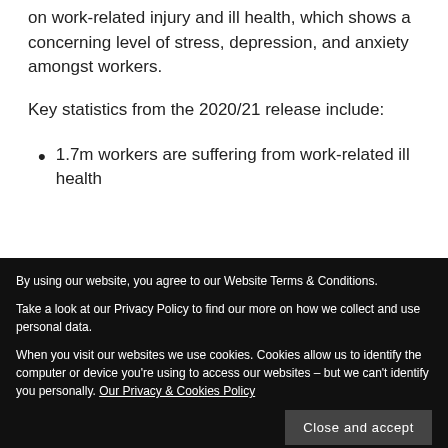on work-related injury and ill health, which shows a concerning level of stress, depression, and anxiety amongst workers.
Key statistics from the 2020/21 release include:
1.7m workers are suffering from work-related ill health
By using our website, you agree to our Website Terms & Conditions.

Take a look at our Privacy Policy to find our more on how we collect and use personal data.

When you visit our websites we use cookies. Cookies allow us to identify the computer or device you're using to access our websites – but we can't identify you personally. Our Privacy & Cookies Policy
mental health in the workplace, as highlighted by the